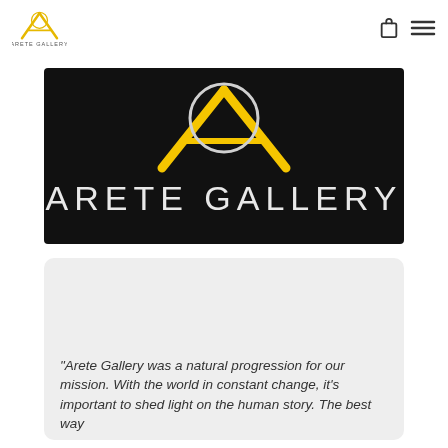ARETE GALLERY
[Figure (logo): Arete Gallery logo on black background — large gold stylized A with circle on top, white text ARETE GALLERY below]
“Arete Gallery was a natural progression for our mission. With the world in constant change, it’s important to shed light on the human story. The best way